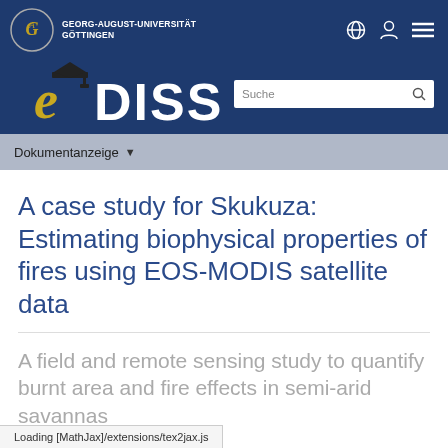Georg-August-Universität Göttingen — eDiss — Suche
Dokumentanzeige
A case study for Skukuza: Estimating biophysical properties of fires using EOS-MODIS satellite data
A field and remote sensing study to quantify burnt area and fire effects in semi-arid savannas
Loading [MathJax]/extensions/tex2jax.js